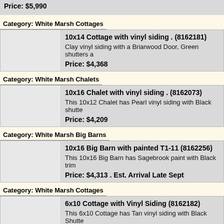Price: $5,990
Category: White Marsh Cottages
10x14 Cottage with vinyl siding . (8162181)
Clay vinyl siding with a Briarwood Door, Green shutters a...
Price: $4,368
Category: White Marsh Chalets
10x16 Chalet with vinyl siding . (8162073)
This 10x12 Chalet has Pearl vinyl siding with Black shutte...
Price: $4,209
Category: White Marsh Big Barns
10x16 Big Barn with painted T1-11 (8162256)
This 10x16 Big Barn has Sagebrook paint with Black trim...
Price: $4,313 . Est. Arrival Late Sept
Category: White Marsh Cottages
6x10 Cottage with Vinyl Siding (8162182)
This 6x10 Cottage has Tan vinyl siding with Black Shutte...